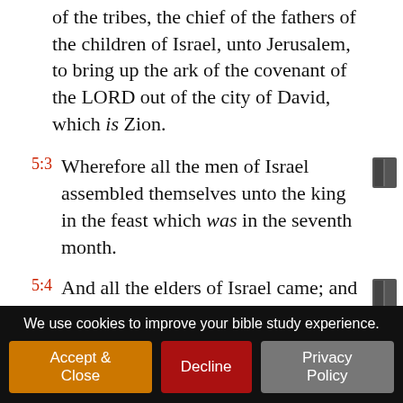of the tribes, the chief of the fathers of the children of Israel, unto Jerusalem, to bring up the ark of the covenant of the LORD out of the city of David, which is Zion.
5:3 Wherefore all the men of Israel assembled themselves unto the king in the feast which was in the seventh month.
5:4 And all the elders of Israel came; and the Levites took up the ark.
5:5 And they brought up the ark, and the tabernacle of the congregation
We use cookies to improve your bible study experience. Accept & Close | Decline | Privacy Policy